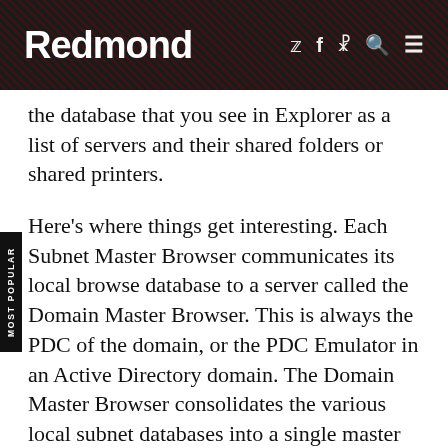Redmond
the database that you see in Explorer as a list of servers and their shared folders or shared printers.
Here's where things get interesting. Each Subnet Master Browser communicates its local browse database to a server called the Domain Master Browser. This is always the PDC of the domain, or the PDC Emulator in an Active Directory domain. The Domain Master Browser consolidates the various local subnet databases into a single master database which it then replicates to each of the Subnet Master Browsers. The Subnet Master Browsers replicate the consolidated database to the Backup Browsers.
Without a copy of the consolidated browse database, a Subnet Master Browser only knows of